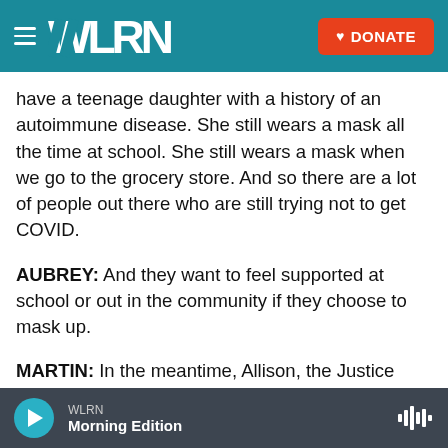WLRN — DONATE
have a teenage daughter with a history of an autoimmune disease. She still wears a mask all the time at school. She still wears a mask when we go to the grocery store. And so there are a lot of people out there who are still trying not to get COVID.
AUBREY: And they want to feel supported at school or out in the community if they choose to mask up.
MARTIN: In the meantime, Allison, the Justice Department is appealing that decision out of Florida, a Florida judge's choice to strike down
WLRN Morning Edition